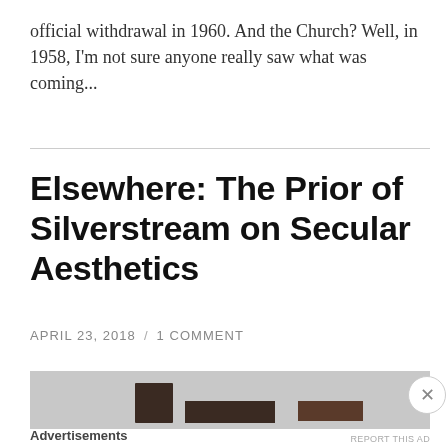official withdrawal in 1960. And the Church? Well, in 1958, I'm not sure anyone really saw what was coming...
Elsewhere: The Prior of Silverstream on Secular Aesthetics
APRIL 23, 2018 / 1 COMMENT
[Figure (photo): Partial view of a building or architectural scene, dark silhouette shapes against a light grey sky background]
Advertisements